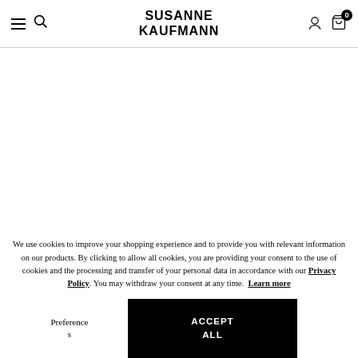SUSANNE KAUFMANN
We use cookies to improve your shopping experience and to provide you with relevant information on our products. By clicking to allow all cookies, you are providing your consent to the use of cookies and the processing and transfer of your personal data in accordance with our Privacy Policy. You may withdraw your consent at any time. Learn more
Preferences
ACCEPT ALL